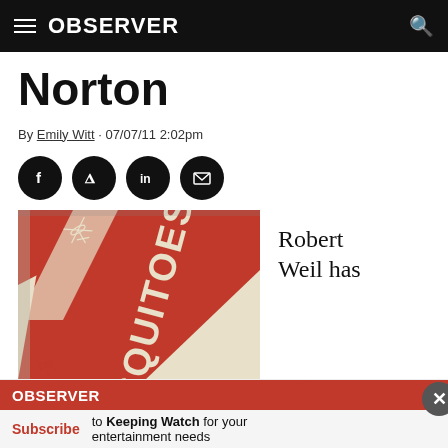OBSERVER
Norton
By Emily Witt · 07/07/11 2:02pm
[Figure (other): Social sharing icons: Facebook, Twitter, LinkedIn, Email]
[Figure (photo): Book cover of 'Mosquitoes' a novel by William Faulkner, red and cream design with mosquito illustrations]
Robert Weil has
[Figure (other): Observer subscription banner with Subscribe button and text 'to Keeping Watch for your entertainment needs']